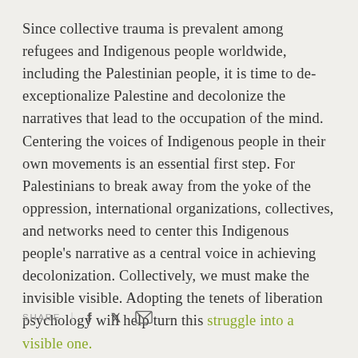Since collective trauma is prevalent among refugees and Indigenous people worldwide, including the Palestinian people, it is time to de-exceptionalize Palestine and decolonize the narratives that lead to the occupation of the mind. Centering the voices of Indigenous people in their own movements is an essential first step. For Palestinians to break away from the yoke of the oppression, international organizations, collectives, and networks need to center this Indigenous people's narrative as a central voice in achieving decolonization. Collectively, we must make the invisible visible. Adopting the tenets of liberation psychology will help turn this struggle into a visible one.
SHARE | f y [mail]